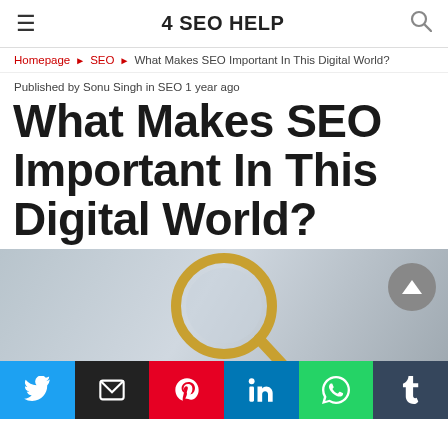4 SEO HELP
Homepage ▶ SEO ▶ What Makes SEO Important In This Digital World?
Published by Sonu Singh in SEO 1 year ago
What Makes SEO Important In This Digital World?
[Figure (photo): Hero image showing a magnifying glass on a blue-grey digital background]
[Figure (infographic): Social share buttons: Twitter, Email, Pinterest, LinkedIn, WhatsApp, Tumblr]